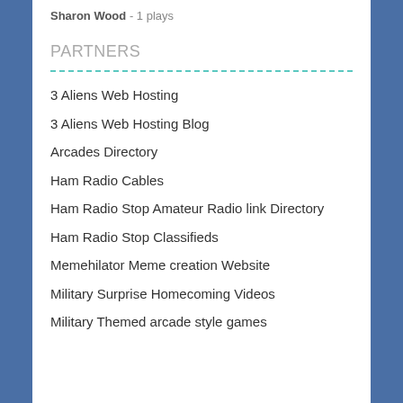Sharon Wood - 1 plays
PARTNERS
3 Aliens Web Hosting
3 Aliens Web Hosting Blog
Arcades Directory
Ham Radio Cables
Ham Radio Stop Amateur Radio link Directory
Ham Radio Stop Classifieds
Memehilator Meme creation Website
Military Surprise Homecoming Videos
Military Themed arcade style games